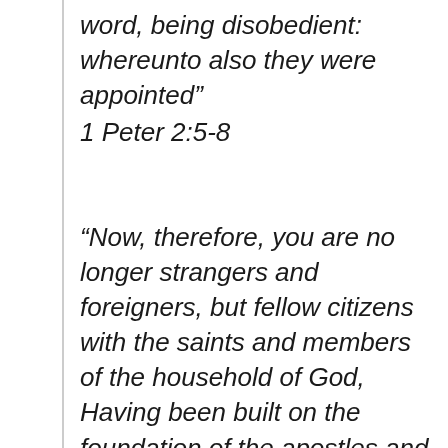word, being disobedient: whereunto also they were appointed” 1 Peter 2:5-8
“Now, therefore, you are no longer strangers and foreigners, but fellow citizens with the saints and members of the household of God, Having been built on the foundation of the apostles and prophets, Jesus Christ Himself being the chief cornerstone, In whom the whole building, being